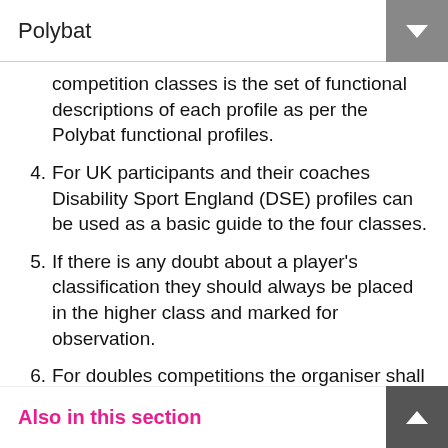Polybat
competition classes is the set of functional descriptions of each profile as per the Polybat functional profiles.
4. For UK participants and their coaches Disability Sport England (DSE) profiles can be used as a basic guide to the four classes.
5. If there is any doubt about a player's classification they should always be placed in the higher class and marked for observation.
6. For doubles competitions the organiser shall decide which combinations of classes will be used.
7. For all competitions the minimum ability is that which allows a player to participate in rallies with
Also in this section